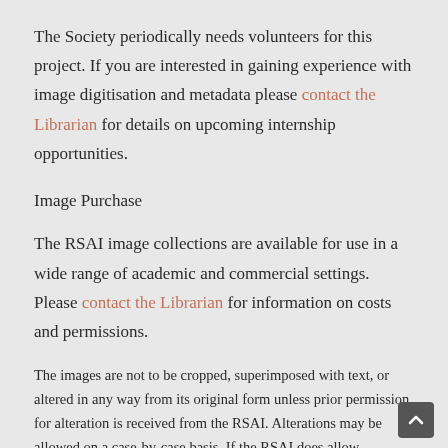The Society periodically needs volunteers for this project. If you are interested in gaining experience with image digitisation and metadata please contact the Librarian for details on upcoming internship opportunities.
Image Purchase
The RSAI image collections are available for use in a wide range of academic and commercial settings. Please contact the Librarian for information on costs and permissions.
The images are not to be cropped, superimposed with text, or altered in any way from its original form unless prior permission for alteration is received from the RSAI. Alterations may be allowed on a case-by-case basis. If the RSAI does allow cropping of image after